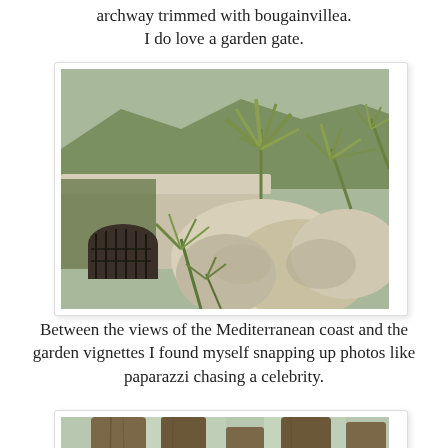archway trimmed with bougainvillea. I do love a garden gate.
[Figure (photo): A stone garden wall with an arched iron gate, surrounded by rocky terrain and various spiky plants including yucca and agave, with hills in the background.]
Between the views of the Mediterranean coast and the garden vignettes I found myself snapping up photos like paparazzi chasing a celebrity.
[Figure (photo): Looking up at large tree trunks with spiky yucca or agave plants at the base, photographed from below.]